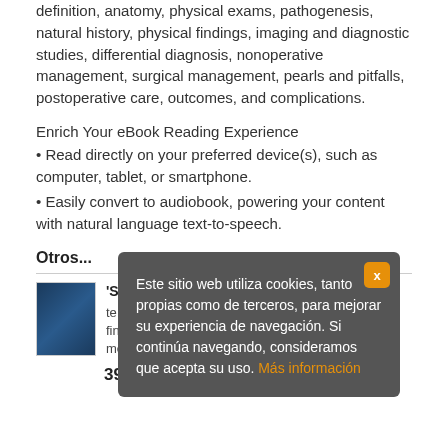definition, anatomy, physical exams, pathogenesis, natural history, physical findings, imaging and diagnostic studies, differential diagnosis, nonoperative management, surgical management, pearls and pitfalls, postoperative care, outcomes, and complications.
Enrich Your eBook Reading Experience
• Read directly on your preferred device(s), such as computer, tablet, or smartphone.
• Easily convert to audiobook, powering your content with natural language text-to-speech.
Otros...
[Figure (photo): Book cover thumbnail showing a medical book with blue cover]
'S FRACTURES IN
te on adult bone and finitive, two volume men...
391,25 €
[Figure (screenshot): Cookie consent popup overlay in Spanish reading: Este sitio web utiliza cookies, tanto propias como de terceros, para mejorar su experiencia de navegación. Si continúa navegando, consideramos que acepta su uso. Más información]